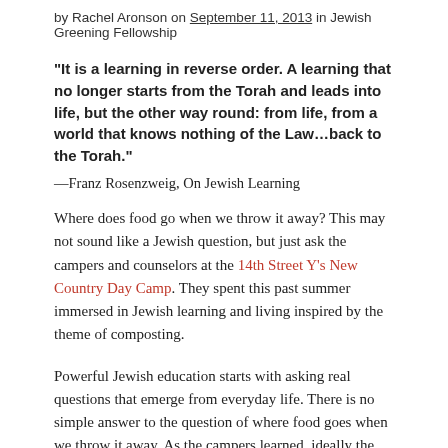by Rachel Aronson on September 11, 2013 in Jewish Greening Fellowship
“It is a learning in reverse order. A learning that no longer starts from the Torah and leads into life, but the other way round: from life, from a world that knows nothing of the Law…back to the Torah.”
—Franz Rosenzweig, On Jewish Learning
Where does food go when we throw it away? This may not sound like a Jewish question, but just ask the campers and counselors at the 14th Street Y’s New Country Day Camp. They spent this past summer immersed in Jewish learning and living inspired by the theme of composting.
Powerful Jewish education starts with asking real questions that emerge from everyday life. There is no simple answer to the question of where food goes when we throw it away. As the campers learned, ideally the nutrients in food are returned to the soil and the cycle of life through composting. But more likely, our waste will end up in a landfill releasing dangerous